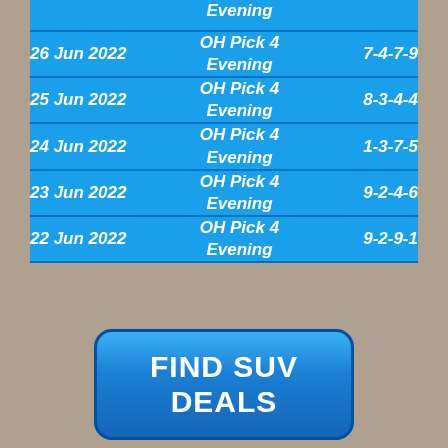| Date | Game | Numbers |
| --- | --- | --- |
|  | OH Pick 4 Evening |  |
| 26 Jun 2022 | OH Pick 4 Evening | 7-4-7-9 |
| 25 Jun 2022 | OH Pick 4 Evening | 8-3-4-4 |
| 24 Jun 2022 | OH Pick 4 Evening | 1-3-7-5 |
| 23 Jun 2022 | OH Pick 4 Evening | 9-2-4-6 |
| 22 Jun 2022 | OH Pick 4 Evening | 9-2-9-1 |
FIND SUV DEALS